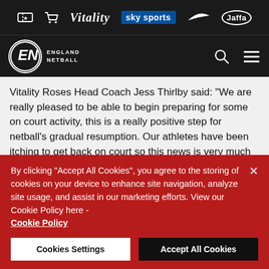[Figure (logo): England Netball website header with sponsor logos: Vitality, Sky Sports, Nike, Jaffa, plus ticket and cart icons on dark background]
Vitality Roses Head Coach Jess Thirlby said: "We are really pleased to be able to begin preparing for some on court activity, this is a really positive step for netball's gradual resumption. Our athletes have been itching to get back on court so this news is very much welcomed.
"Despite our eagerness to begin training together again, we have to be mindful to start small, get the environments right and then grow our training groups from there. Whilst we
By clicking "Accept All Cookies", you agree to the storing of cookies on your device to enhance site navigation, analyze site usage, and assist in our marketing efforts. View our Cookie Policy here - Cookie Policy
Cookies Settings
Accept All Cookies